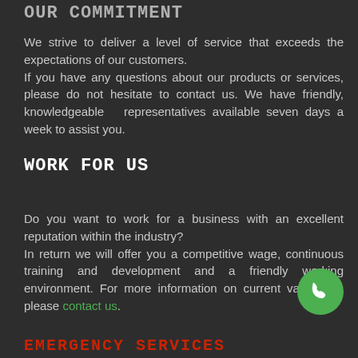OUR COMMITMENT
We strive to deliver a level of service that exceeds the expectations of our customers. If you have any questions about our products or services, please do not hesitate to contact us. We have friendly, knowledgeable representatives available seven days a week to assist you.
WORK FOR US
Do you want to work for a business with an excellent reputation within the industry? In return we will offer you a competitive wage, continuous training and development and a friendly working environment. For more information on current vacancies, please contact us.
[Figure (other): Green circular phone/call button icon in bottom right corner]
EMERGENCY SERVICES